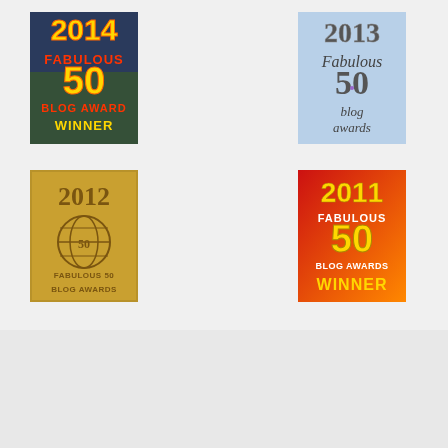[Figure (illustration): 2014 Fabulous 50 Blog Award Winner badge with yellow and red text on dark blue/photo background]
[Figure (illustration): 2013 Fabulous 50 blog awards badge with stone-textured lettering on sky blue background]
[Figure (illustration): 2012 Fabulous 50 Blog Awards badge with gold metallic texture and globe icon]
[Figure (illustration): 2011 Fabulous 50 Blog Awards Winner badge with red-orange gradient background and gold text]
| M | T | W | T | F | S | S |
| --- | --- | --- | --- | --- | --- | --- |
|  |  |  |  |  | 1 | 2 |